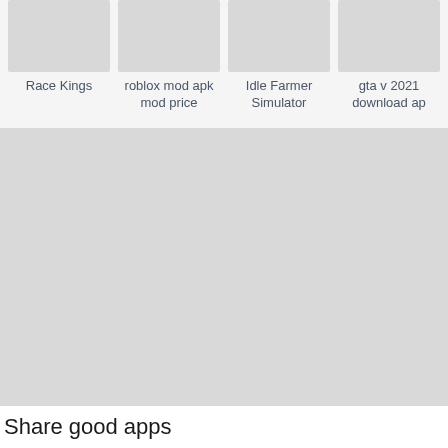[Figure (screenshot): App store listing cards row showing four apps: Race Kings, roblox mod apk mod price, Idle Farmer Simulator, gta v 2021 download ap]
Race Kings
roblox mod apk
mod price
Idle Farmer
Simulator
gta v 2021
download ap
Share good apps